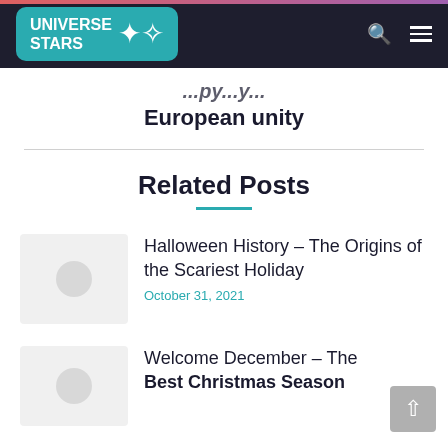Universe Stars — navigation bar with logo, search icon, and hamburger menu
European unity
Related Posts
Halloween History – The Origins of the Scariest Holiday
October 31, 2021
Welcome December – The Best Christmas Season